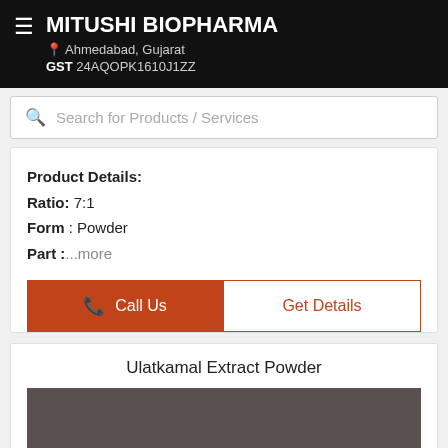MITUSHI BIOPHARMA, Ahmedabad, Gujarat, GST 24AQOPK1610J1ZZ
Search for Products / Services
Product Details:
Ratio: 7:1
Form : Powder
Part :...more
Call Us
Get Details
Ulatkamal Extract Powder
[Figure (photo): Dark brownish-gray product powder image]